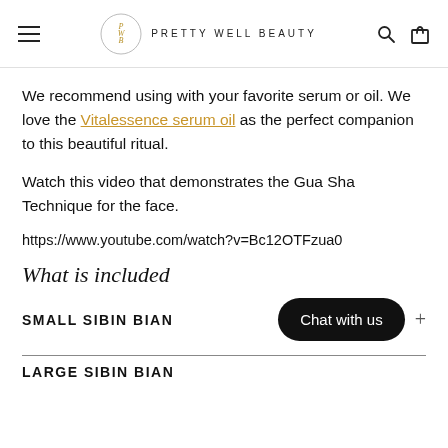PRETTY WELL BEAUTY
We recommend using with your favorite serum or oil. We love the Vitalessence serum oil as the perfect companion to this beautiful ritual.
Watch this video that demonstrates the Gua Sha Technique for the face.
https://www.youtube.com/watch?v=Bc12OTFzua0
What is included
SMALL SIBIN BIAN
Chat with us